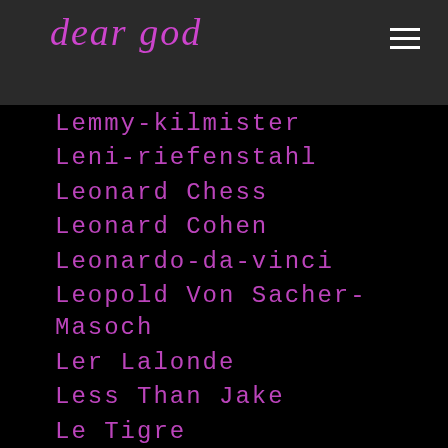dear god
Lemmy-kilmister
Leni-riefenstahl
Leonard Chess
Leonard Cohen
Leonardo-da-vinci
Leopold Von Sacher-Masoch
Ler Lalonde
Less Than Jake
Le Tigre
Levitation Room
Levon Helm
Lew Alcindor
LGBTQIA
Liam Finn
Liam Gallagher
Liam Howlett